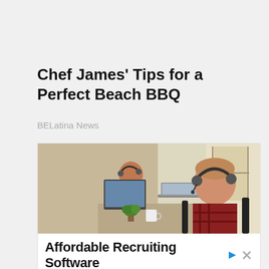Chef James' Tips for a Perfect Beach BBQ
BELatina News
[Figure (photo): Advertisement banner showing two office workers wearing headsets sitting at computers in an office environment. Below the photo is ad copy for recruiting software.]
Affordable Recruiting Software
Simplify Your Hiring Process With Our Applicant Tracking Software. Request a Demo.
info.jazzhr.com
Learn More